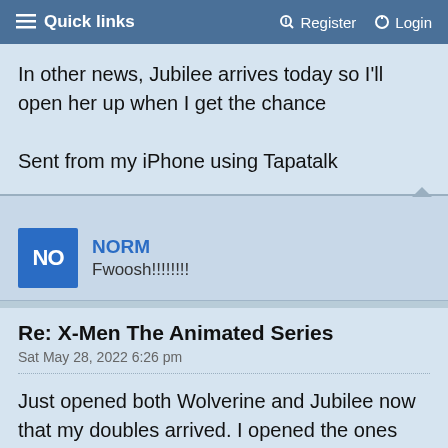Quick links   Register   Login
In other news, Jubilee arrives today so I'll open her up when I get the chance

Sent from my iPhone using Tapatalk
NORM
Fwoosh!!!!!!!!
Re: X-Men The Animated Series
Sat May 28, 2022 6:26 pm
Just opened both Wolverine and Jubilee now that my doubles arrived. I opened the ones where the figures and accessories seemed less secure in the package. Wolvie is cool, the claws